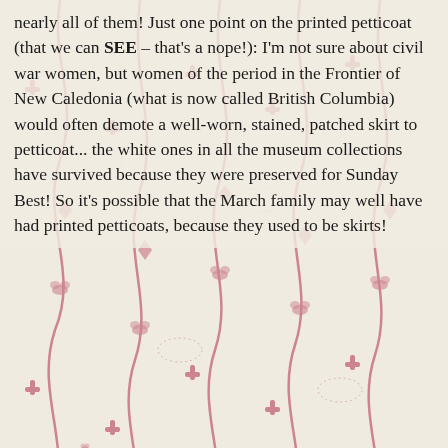nearly all of them! Just one point on the printed petticoat (that we can SEE – that's a nope!): I'm not sure about civil war women, but women of the period in the Frontier of New Caledonia (what is now called British Columbia) would often demote a well-worn, stained, patched skirt to petticoat... the white ones in all the museum collections have survived because they were preserved for Sunday Best! So it's possible that the March family may well have had printed petticoats, because they used to be skirts!
★ Like
↩ Reply
[Figure (illustration): Green geometric quilt-pattern avatar icon for commenter Alden O'Brien]
ALDEN O'BRIEN says:
MARCH 8, 2020 AT 10:07 AM